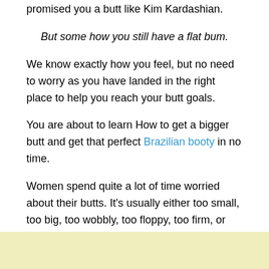probably you have bought some butt pills that promised you a butt like Kim Kardashian.
But some how you still have a flat bum.
We know exactly how you feel, but no need to worry as you have landed in the right place to help you reach your butt goals.
You are about to learn How to get a bigger butt and get that perfect Brazilian booty in no time.
Women spend quite a lot of time worried about their butts. It's usually either too small, too big, too wobbly, too floppy, too firm, or too saggy.